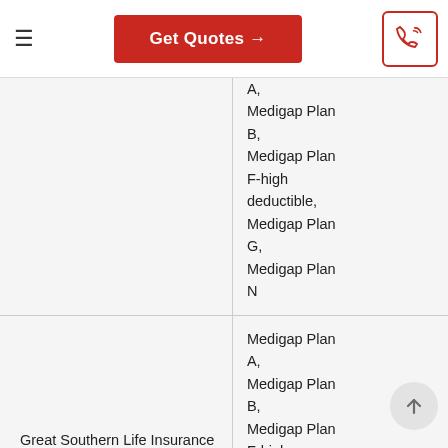Get Quotes →
| Company | Plans Available |
| --- | --- |
| Great Southern Life Insurance Company | A, Medigap Plan B, Medigap Plan F-high deductible, Medigap Plan G, Medigap Plan N |
| Great Southern Life Insurance Company (Class 1) | Medigap Plan A, Medigap Plan B, Medigap Plan F-high deductible, ... |